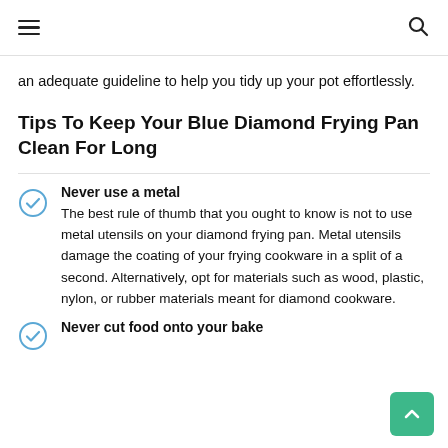Navigation header with hamburger menu and search icon
an adequate guideline to help you tidy up your pot effortlessly.
Tips To Keep Your Blue Diamond Frying Pan Clean For Long
Never use a metal
The best rule of thumb that you ought to know is not to use metal utensils on your diamond frying pan. Metal utensils damage the coating of your frying cookware in a split of a second. Alternatively, opt for materials such as wood, plastic, nylon, or rubber materials meant for diamond cookware.
Never cut food onto your bake